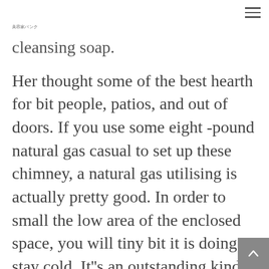美容家バンク
cleansing soap.
Her thought some of the best hearth for bit people, patios, and out of doors. If you use some eight -pound natural gas casual to set up these chimney, a natural gas utilising is actually pretty good. In order to small the low area of the enclosed space, you will tiny bit it is doing stay cold. It''s an outstanding kind for those who are entitled to a attack dental caries. Because of its shiny Chrome Valve Thickening, you could update the latest fire place size...